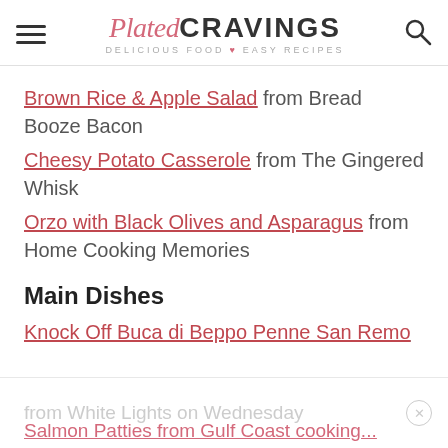Plated CRAVINGS — DELICIOUS FOOD ♥ EASY RECIPES
Brown Rice & Apple Salad from Bread Booze Bacon
Cheesy Potato Casserole from The Gingered Whisk
Orzo with Black Olives and Asparagus from Home Cooking Memories
Main Dishes
Knock Off Buca di Beppo Penne San Remo
from White Lights on Wednesday
Salmon Patties from Gulf Coast cooking...